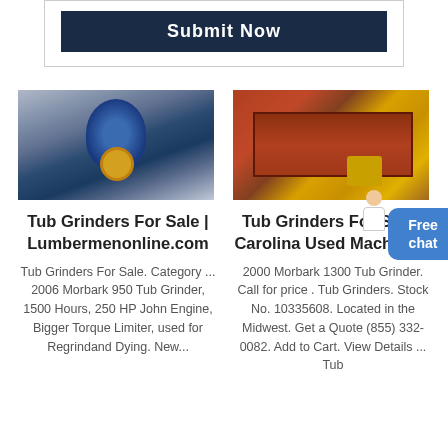[Figure (screenshot): Dark navy Submit Now button inside a white bordered box at top of page]
[Figure (photo): Industrial blue tub grinder machine in a warehouse]
[Figure (photo): Yellow and rust-colored industrial vibrating screen / tub grinder outdoors]
Tub Grinders For Sale | Lumbermenonline.com
Tub Grinders For Sale - Carolina Used Machinery
Tub Grinders For Sale. Category ... 2006 Morbark 950 Tub Grinder, 1500 Hours, 250 HP John Engine, Bigger Torque Limiter, used for Regrindand Dying. New...
2000 Morbark 1300 Tub Grinder. Call for price . Tub Grinders. Stock No. 10335608. Located in the Midwest. Get a Quote (855) 332-0082. Add to Cart. View Details ... Tub